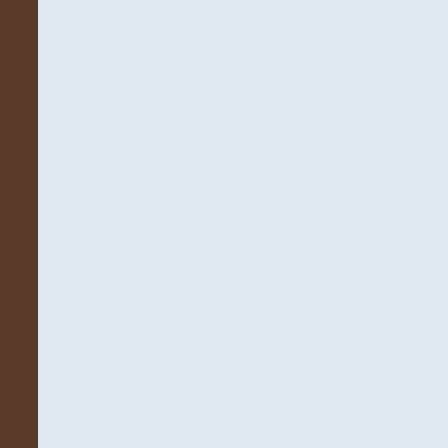They are well-linked into the lift system, with the S Brévières being replaced with an 8-seater cable car f season. Les Boisses has also got a fantastic beginners covered carpets to get you started easily. They are a assisted so snow-cover usually remains sufficient at t to allow you to still be able to ski to your door.
TIGNES: VAL CLARET, LE LAC, LE LAVACHET, BREVIERES
Val Claret
Le Lac
Le Lavachet
Les Boisses
Les Brévières